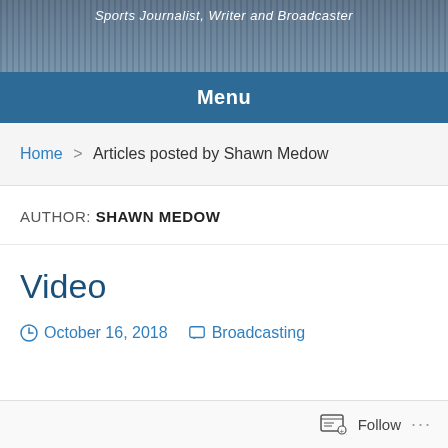[Figure (photo): Sports stadium crowd photo used as website header background, partially visible at top]
Sports Journalist, Writer and Broadcaster
Menu
Home > Articles posted by Shawn Medow
AUTHOR: SHAWN MEDOW
Video
October 16, 2018   Broadcasting
Follow ...